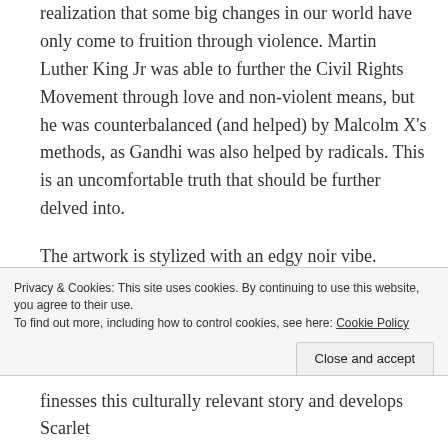realization that some big changes in our world have only come to fruition through violence. Martin Luther King Jr was able to further the Civil Rights Movement through love and non-violent means, but he was counterbalanced (and helped) by Malcolm X's methods, as Gandhi was also helped by radicals. This is an uncomfortable truth that should be further delved into.
The artwork is stylized with an edgy noir vibe. Mostly drawn in black and white or with a muted earthen color palette, some splashes of color include Scarlet's red hair, blood and occasional details such as a pride flag. The art is sketchy at times, but also includes photographic type detail. Artist Alex Maleev is fond of closeups of people's
Privacy & Cookies: This site uses cookies. By continuing to use this website, you agree to their use. To find out more, including how to control cookies, see here: Cookie Policy
Close and accept
finesses this culturally relevant story and develops Scarlet